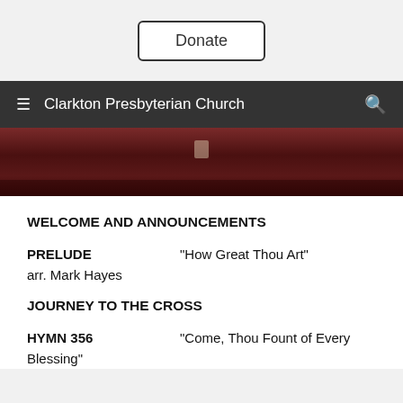[Figure (screenshot): Donate button with rounded rectangle border on grey background]
Clarkton Presbyterian Church
[Figure (photo): Dark reddish-brown interior photo of church pews]
WELCOME AND ANNOUNCEMENTS
PRELUDE	"How Great Thou Art"
arr. Mark Hayes
JOURNEY TO THE CROSS
HYMN 356	"Come, Thou Fount of Every Blessing"